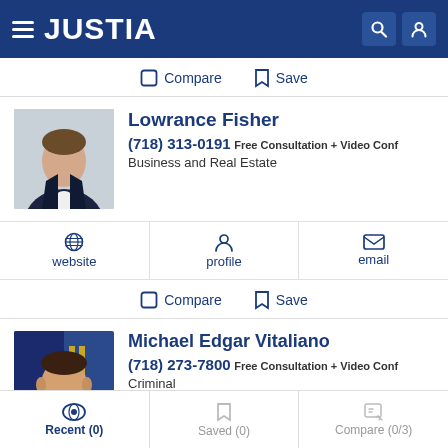JUSTIA
Compare   Save
Lowrance Fisher
(718) 313-0191 Free Consultation + Video Conf
Business and Real Estate
website   profile   email
Compare   Save
Michael Edgar Vitaliano
(718) 273-7800 Free Consultation + Video Conf
Criminal
Recent (0)   Saved (0)   Compare (0/3)